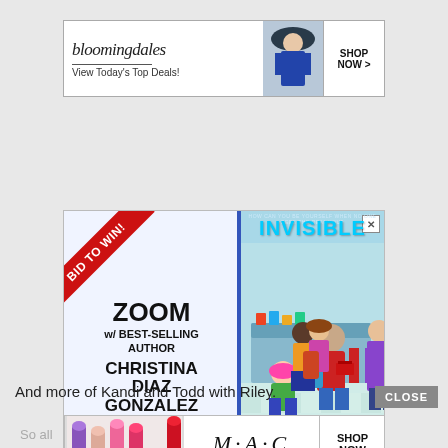[Figure (infographic): Bloomingdale's banner advertisement: logo, 'View Today's Top Deals!' text, model with hat, and 'SHOP NOW >' button]
[Figure (infographic): Advertisement for a Zoom meeting with best-selling author Christina Diaz Gonzalez, featuring a 'BID TO WIN!' ribbon, cartoon book cover for 'INVISIBLE', and text about meeting with school/school district/writer's group. Proceeds benefit TABC Book Drop (Writer's Cubed, a 501c3).]
And more of Kandi and Todd with Riley.
[Figure (infographic): MAC cosmetics banner ad with lipsticks, MAC logo, and SHOP NOW button. Also shows 'CLOSE' button and partial text 'So all']